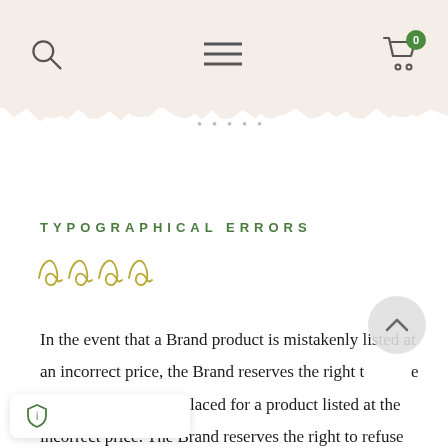[Figure (screenshot): Navigation bar with search icon, hamburger menu, and shopping cart with badge showing 0]
...partially visible italic/decorative text...
TYPOGRAPHICAL ERRORS
[Figure (illustration): Decorative script/flourish divider in olive/yellow-green color]
In the event that a Brand product is mistakenly listed at an incorrect price, the Brand reserves the right to refuse or cancel any orders placed for a product listed at the incorrect price. The Brand reserves the right to refuse or cancel any such orders whether or not the order has